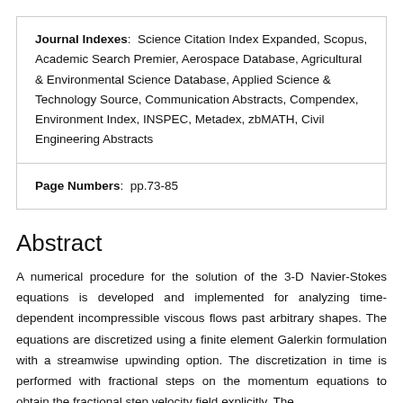Journal Indexes: Science Citation Index Expanded, Scopus, Academic Search Premier, Aerospace Database, Agricultural & Environmental Science Database, Applied Science & Technology Source, Communication Abstracts, Compendex, Environment Index, INSPEC, Metadex, zbMATH, Civil Engineering Abstracts
Page Numbers: pp.73-85
Abstract
A numerical procedure for the solution of the 3-D Navier-Stokes equations is developed and implemented for analyzing time-dependent incompressible viscous flows past arbitrary shapes. The equations are discretized using a finite element Galerkin formulation with a streamwise upwinding option. The discretization in time is performed with fractional steps on the momentum equations to obtain the fractional step velocity field explicitly. The